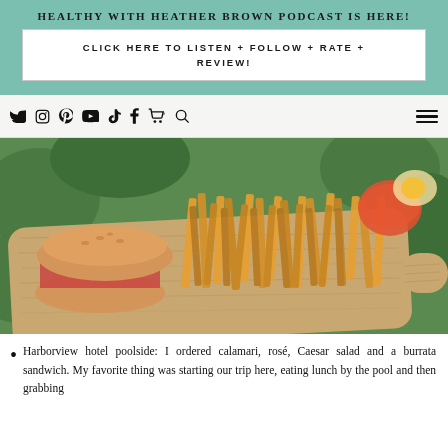HEALTHY WITH HEATHER BROWN PODCAST IS HERE!
CLICK HERE TO LISTEN + FOLLOW + RATE + REVIEW!
[Figure (photo): Photo of golden french fries on a wooden cutting board with a sandwich and dipping sauce, set against green foliage background]
Harborview hotel poolside: I ordered calamari, rosé, Caesar salad and a burrata sandwich. My favorite thing was starting our trip here, eating lunch by the pool and then grabbing...